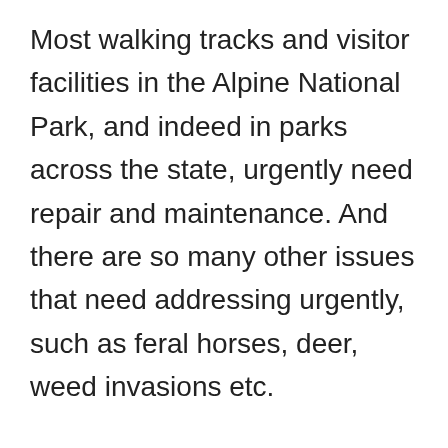Most walking tracks and visitor facilities in the Alpine National Park, and indeed in parks across the state, urgently need repair and maintenance. And there are so many other issues that need addressing urgently, such as feral horses, deer, weed invasions etc.
Large-scale new tourism infrastructure has dominated recent budget allocations to Parks Victoria.